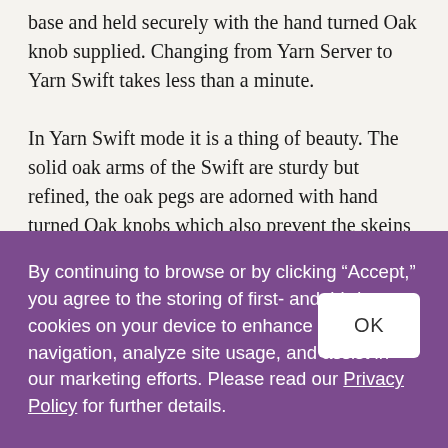base and held securely with the hand turned Oak knob supplied. Changing from Yarn Server to Yarn Swift takes less than a minute.

In Yarn Swift mode it is a thing of beauty. The solid oak arms of the Swift are sturdy but refined, the oak pegs are adorned with hand turned Oak knobs which also prevent the skeins from riding up over the pegs during the winding process. The turning action is silky smooth and perfectly balanced due to the roller bearings in the revolving base, this also means that the pegs can be individually adjusted in small increments to allow for perfect fitting of different size skeins without compromising the balance of the Swift
By continuing to browse or by clicking “Accept,” you agree to the storing of first- and third-party cookies on your device to enhance site navigation, analyze site usage, and assist in our marketing efforts. Please read our Privacy Policy for further details.